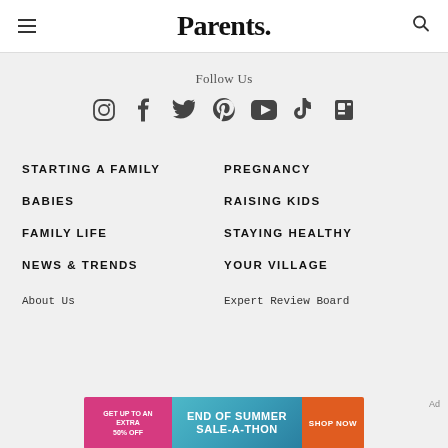Parents.
Follow Us
[Figure (infographic): Social media icons row: Instagram, Facebook, Twitter, Pinterest, YouTube, TikTok, Flipboard]
STARTING A FAMILY
PREGNANCY
BABIES
RAISING KIDS
FAMILY LIFE
STAYING HEALTHY
NEWS & TRENDS
YOUR VILLAGE
About Us
Expert Review Board
[Figure (infographic): Advertisement banner: GET UP TO AN EXTRA 50% OFF | END OF SUMMER SALE-A-THON | SHOP NOW]